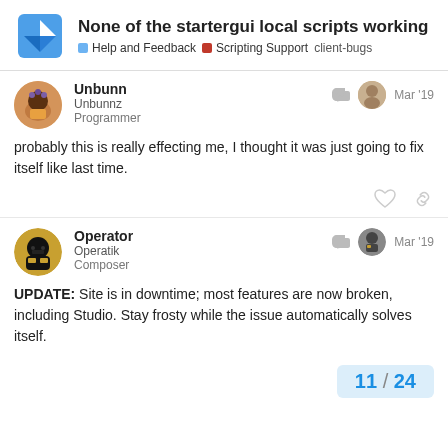None of the startergui local scripts working — Help and Feedback · Scripting Support · client-bugs
Unbunn
Unbunnz
Programmer
Mar '19
probably this is really effecting me, I thought it was just going to fix itself like last time.
Operator
Operatik
Composer
Mar '19
UPDATE: Site is in downtime; most features are now broken, including Studio. Stay frosty while the issue automatically solves itself.
11 / 24